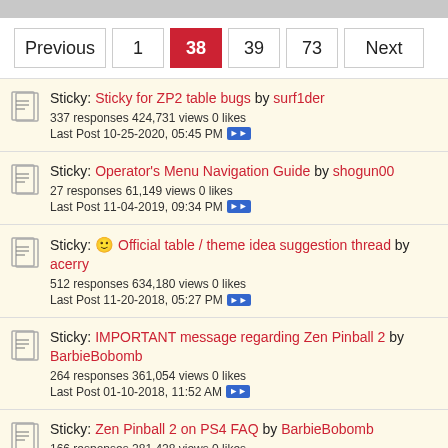Pagination: Previous 1 38 39 73 Next
Sticky: Sticky for ZP2 table bugs by surf1der — 337 responses 424,731 views 0 likes — Last Post 10-25-2020, 05:45 PM
Sticky: Operator's Menu Navigation Guide by shogun00 — 27 responses 61,149 views 0 likes — Last Post 11-04-2019, 09:34 PM
Sticky: 🙂 Official table / theme idea suggestion thread by acerry — 512 responses 634,180 views 0 likes — Last Post 11-20-2018, 05:27 PM
Sticky: IMPORTANT message regarding Zen Pinball 2 by BarbieBobomb — 264 responses 361,054 views 0 likes — Last Post 01-10-2018, 11:52 AM
Sticky: Zen Pinball 2 on PS4 FAQ by BarbieBobomb — 166 responses 281,428 views 0 likes — Last Post 12-29-2017, 05:41 PM